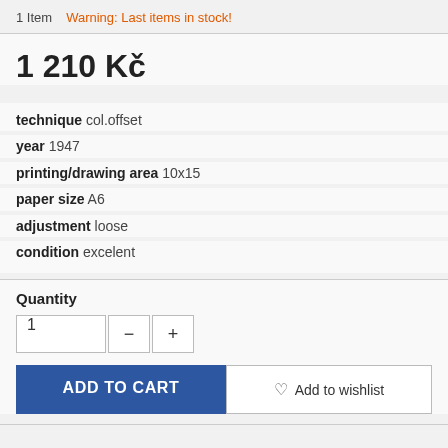1 Item   Warning: Last items in stock!
1 210 Kč
technique col.offset
year 1947
printing/drawing area 10x15
paper size A6
adjustment loose
condition excelent
Quantity
1  −  +
ADD TO CART   Add to wishlist